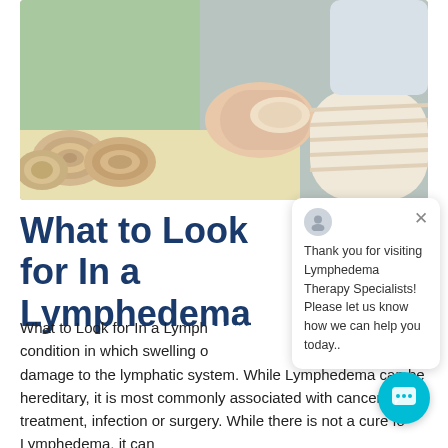[Figure (photo): A healthcare professional wrapping bandages around a patient's foot and leg, with rolled bandages visible on a yellow surface in the background. The image is related to lymphedema treatment.]
What to Look for In a Lymphedema
What to Look for In a Lymphedema condition in which swelling damage to the lymphatic system. While Lymphedema can be hereditary, it is most commonly associated with cancer treatment, infection or surgery. While there is not a cure for Lymphedema, it can
[Figure (screenshot): A chat popup overlay with a user avatar icon, a close (X) button, and the message: 'Thank you for visiting Lymphedema Therapy Specialists! Please let us know how we can help you today..' with a teal chat button in the bottom-right corner.]